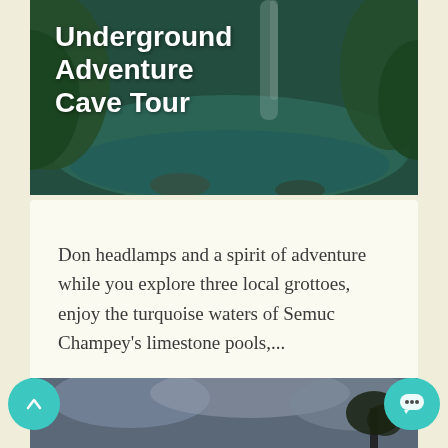[Figure (photo): Hero image of cave/grotto area with turquoise water and lush greenery, waterfall in background]
Underground Adventure Cave Tour
Don headlamps and a spirit of adventure while you explore three local grottoes, enjoy the turquoise waters of Semuc Champey's limestone pools,...
MULTI-DAY / BEGINNER
VIEW MORE
[Figure (photo): Bottom partial image showing dark cloudy sky with tree silhouette]